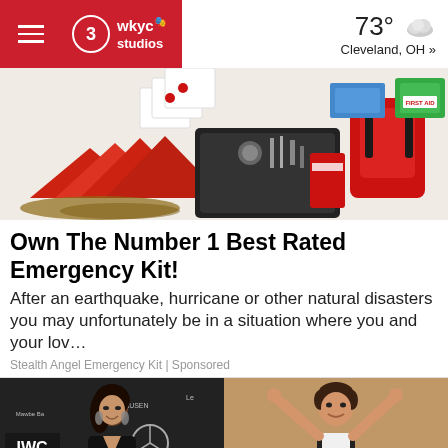WKYC Studios | 73° Cleveland, OH »
[Figure (photo): Emergency kit product photo showing survival supplies, tools, red backpack, first aid kits, water pouches against white background]
Own The Number 1 Best Rated Emergency Kit!
After an earthquake, hurricane or other natural disasters you may unfortunately be in a situation where you and your lov…
Stealth Angel Emergency Kit | Sponsored
[Figure (photo): Split image: left side shows a woman in black dress at IWC Schaffhausen Mercedes-Benz event; right side shows a young boy gymnast celebrating with arms raised]